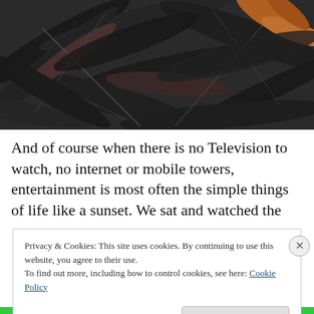[Figure (photo): Close-up photograph of dry, dark grey/black eucalyptus leaves and bark scattered on the ground, with some orange/brown dried leaf material visible in the upper right corner.]
And of course when there is no Television to watch, no internet or mobile towers, entertainment is most often the simple things of life like a sunset. We sat and watched the
Privacy & Cookies: This site uses cookies. By continuing to use this website, you agree to their use.
To find out more, including how to control cookies, see here: Cookie Policy
Close and accept